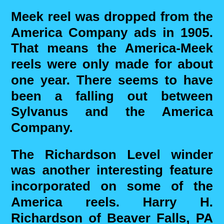Meek reel was dropped from the America Company ads in 1905. That means the America-Meek reels were only made for about one year. There seems to have been a falling out between Sylvanus and the America Company.
The Richardson Level winder was another interesting feature incorporated on some of the America reels. Harry H. Richardson of Beaver Falls, PA assigned his April 17, 1906 patent to the America Company. The interesting looking level winder had a worm gear shaft which sat in eccentric holders on each end. By rotating the line guide forward, the